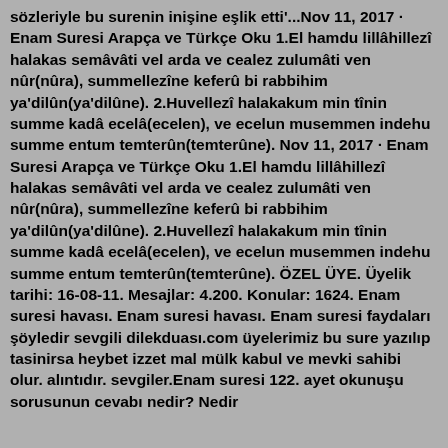sözleriyle bu surenin inişine eşlik etti'...Nov 11, 2017 · Enam Suresi Arapça ve Türkçe Oku 1.El hamdu lillâhillezî halakas semâvâti vel arda ve cealez zulumâti ven nûr(nûra), summellezîne keferû bi rabbihim ya'dilûn(ya'dilûne). 2.Huvellezî halakakum min tînin summe kadâ ecelâ(ecelen), ve ecelun musemmen indehu summe entum temterûn(temterûne). Nov 11, 2017 · Enam Suresi Arapça ve Türkçe Oku 1.El hamdu lillâhillezî halakas semâvâti vel arda ve cealez zulumâti ven nûr(nûra), summellezîne keferû bi rabbihim ya'dilûn(ya'dilûne). 2.Huvellezî halakakum min tînin summe kadâ ecelâ(ecelen), ve ecelun musemmen indehu summe entum temterûn(temterûne). ÖZEL ÜYE. Üyelik tarihi: 16-08-11. Mesajlar: 4.200. Konular: 1624. Enam suresi havası. Enam suresi havası. Enam suresi faydaları şöyledir sevgili dilekduası.com üyelerimiz bu sure yazılıp tasinirsa heybet izzet mal mülk kabul ve mevki sahibi olur. alıntıdır. sevgiler.Enam suresi 122. ayet okunuşu sorusunun cevabı nedir? Nedir